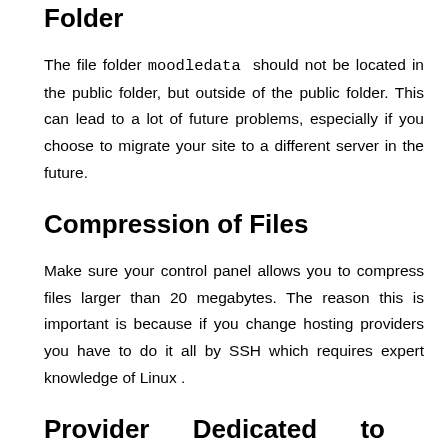Location of the Moodledata Folder
The file folder moodledata should not be located in the public folder, but outside of the public folder. This can lead to a lot of future problems, especially if you choose to migrate your site to a different server in the future.
Compression of Files
Make sure your control panel allows you to compress files larger than 20 megabytes. The reason this is important is because if you change hosting providers you have to do it all by SSH which requires expert knowledge of Linux .
Provider Dedicated to